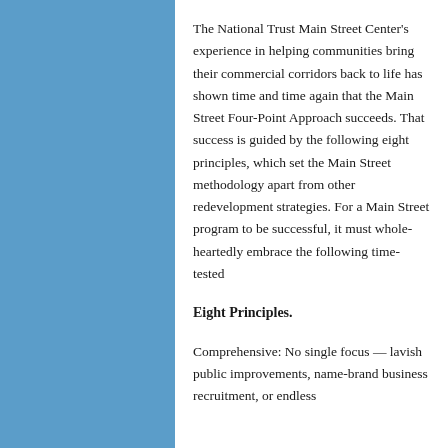The National Trust Main Street Center's experience in helping communities bring their commercial corridors back to life has shown time and time again that the Main Street Four-Point Approach succeeds. That success is guided by the following eight principles, which set the Main Street methodology apart from other redevelopment strategies. For a Main Street program to be successful, it must whole-heartedly embrace the following time-tested
Eight Principles.
Comprehensive: No single focus — lavish public improvements, name-brand business recruitment, or endless